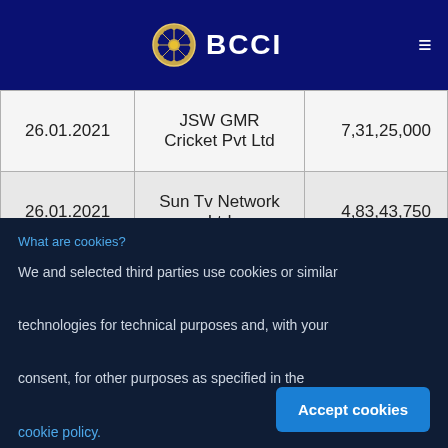BCCI
| Date | Entity | Amount |
| --- | --- | --- |
| 26.01.2021 | JSW GMR Cricket Pvt Ltd | 7,31,25,000 |
| 26.01.2021 | Sun Tv Network Ltd | 4,83,43,750 |
What are cookies?
We and selected third parties use cookies or similar technologies for technical purposes and, with your consent, for other purposes as specified in the cookie policy.